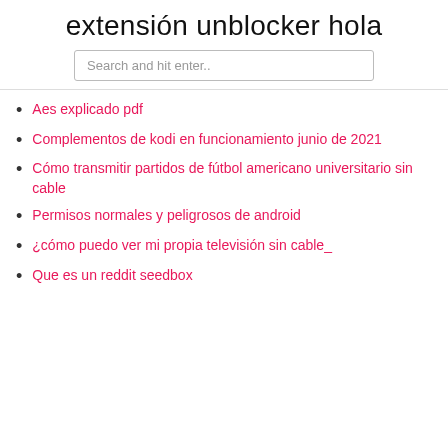extensión unblocker hola
Search and hit enter..
Aes explicado pdf
Complementos de kodi en funcionamiento junio de 2021
Cómo transmitir partidos de fútbol americano universitario sin cable
Permisos normales y peligrosos de android
¿cómo puedo ver mi propia televisión sin cable_
Que es un reddit seedbox